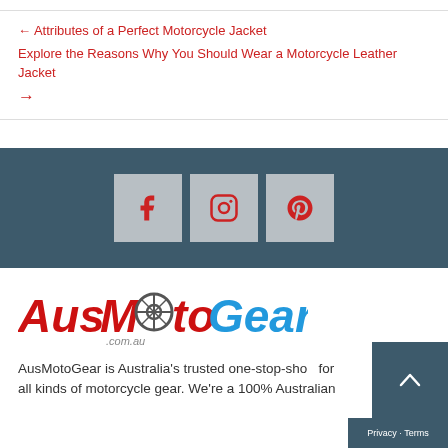← Attributes of a Perfect Motorcycle Jacket
Explore the Reasons Why You Should Wear a Motorcycle Leather Jacket →
[Figure (other): Social media bar with Facebook, Instagram, and Pinterest icon buttons on a dark teal/slate background]
[Figure (logo): AusMotoGear.com.au logo with red italic text and blue italic 'Gear', with a gear/wheel graphic replacing the 'O' in Moto]
AusMotoGear is Australia's trusted one-stop-shop for all kinds of motorcycle gear. We're a 100% Australian